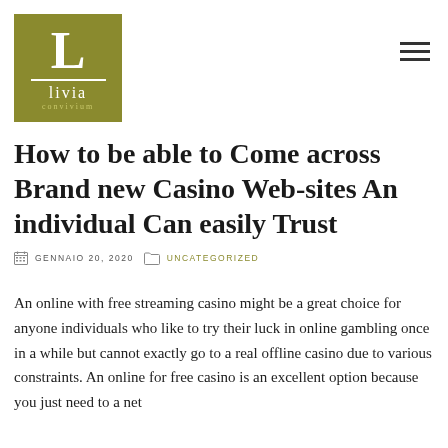[Figure (logo): Livia Convivium logo: olive green square with white letter L, white divider line, white text 'livia' and smaller gold text 'convivium']
How to be able to Come across Brand new Casino Web-sites An individual Can easily Trust
GENNAIO 20, 2020   UNCATEGORIZED
An online with free streaming casino might be a great choice for anyone individuals who like to try their luck in online gambling once in a while but cannot exactly go to a real offline casino due to various constraints. An online for free casino is an excellent option because you just need to a net